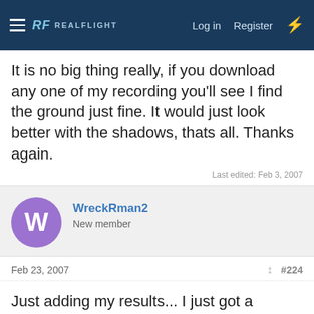RF REALFLIGHT  Log in  Register
It is no big thing really, if you download any one of my recording you'll see I find the ground just fine. It would just look better with the shadows, thats all. Thanks again.
Last edited: Feb 3, 2007
WreckRman2
New member
Feb 23, 2007
#224
Just adding my results... I just got a GeForce 7900 GS 256MB PCI Express card and it rocks!

$179 at Best Buy